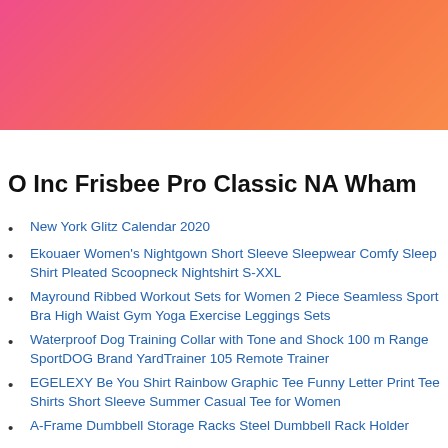[Figure (illustration): Decorative gradient banner header, pink to orange/salmon gradient]
O Inc Frisbee Pro Classic NA Wham
New York Glitz Calendar 2020
Ekouaer Women's Nightgown Short Sleeve Sleepwear Comfy Sleep Shirt Pleated Scoopneck Nightshirt S-XXL
Mayround Ribbed Workout Sets for Women 2 Piece Seamless Sport Bra High Waist Gym Yoga Exercise Leggings Sets
Waterproof Dog Training Collar with Tone and Shock 100 m Range SportDOG Brand YardTrainer 105 Remote Trainer
EGELEXY Be You Shirt Rainbow Graphic Tee Funny Letter Print Tee Shirts Short Sleeve Summer Casual Tee for Women
A-Frame Dumbbell Storage Racks Steel Dumbbell Rack Holder